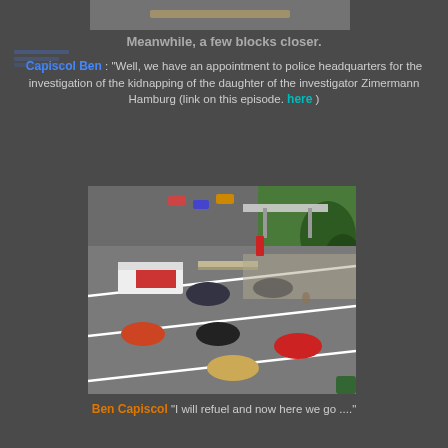[Figure (photo): Partial photo at top of page, appears to be a scene with a wooden or light colored bar/stick visible]
Meanwhile, a few blocks closer.
Capiscol Ben : "Well, we have an appointment to police headquarters for the investigation of the kidnapping of the daughter of the investigator Zimermann Hamburg (link on this episode. here )
[Figure (photo): Overhead view of a miniature/model road scene with cars, trucks, a gas station, and trees. Multiple toy cars visible on road lanes with white lane markings.]
Ben Capiscol "I will refuel and now here we go ..."